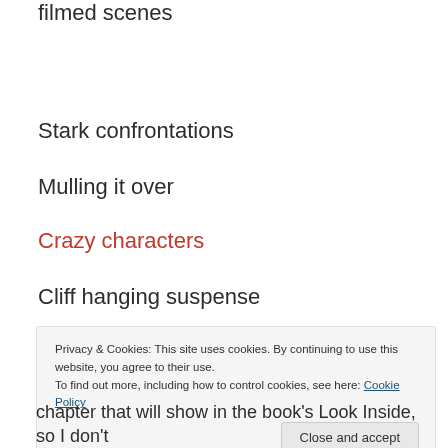filmed scenes
Stark confrontations
Mulling it over
Crazy characters
Cliff hanging suspense
Privacy & Cookies: This site uses cookies. By continuing to use this website, you agree to their use. To find out more, including how to control cookies, see here: Cookie Policy
Close and accept
chapter that will show in the book's Look Inside, so I don't